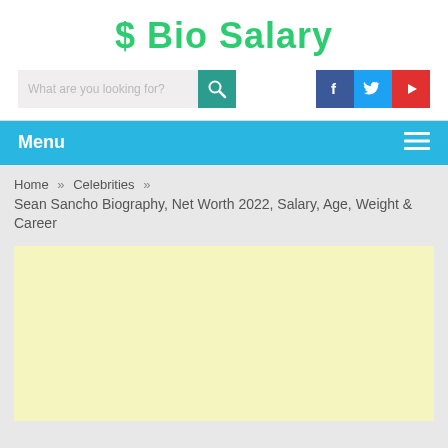$ Bio Salary
[Figure (screenshot): Search bar with teal search button and social media icons for Facebook, Twitter, and YouTube]
[Figure (screenshot): Navigation menu bar in sky blue with Menu text and hamburger icon]
Home » Celebrities »
Sean Sancho Biography, Net Worth 2022, Salary, Age, Weight & Career
[Figure (other): Advertisement placeholder area with light yellow background]